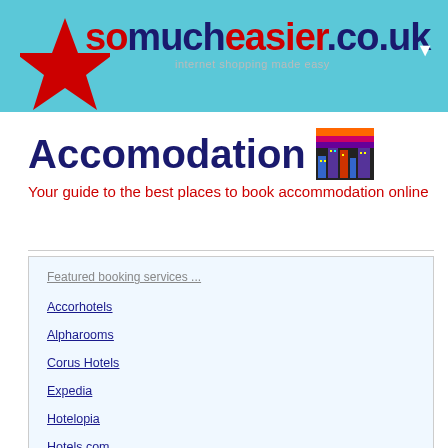somucheasier.co.uk — internet shopping made easy
Accomodation
Your guide to the best places to book accommodation online
Featured booking services ...
Accorhotels
Alpharooms
Corus Hotels
Expedia
Hotelopia
Hotels.com